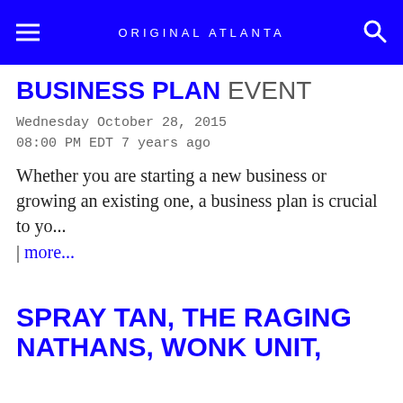ORIGINAL ATLANTA
BUSINESS PLAN EVENT
Wednesday October 28, 2015
08:00 PM EDT 7 years ago
Whether you are starting a new business or growing an existing one, a business plan is crucial to yo...
| more...
SPRAY TAN, THE RAGING NATHANS, WONK UNIT,